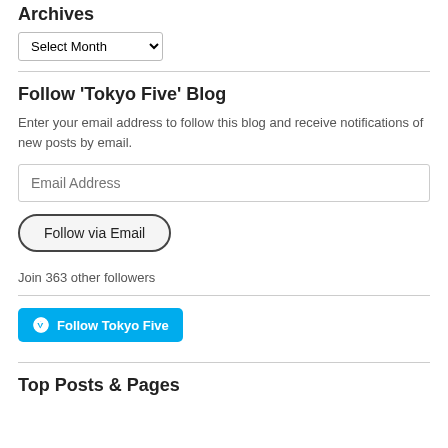Archives
Select Month
Follow 'Tokyo Five' Blog
Enter your email address to follow this blog and receive notifications of new posts by email.
Email Address
Follow via Email
Join 363 other followers
Follow Tokyo Five
Top Posts & Pages